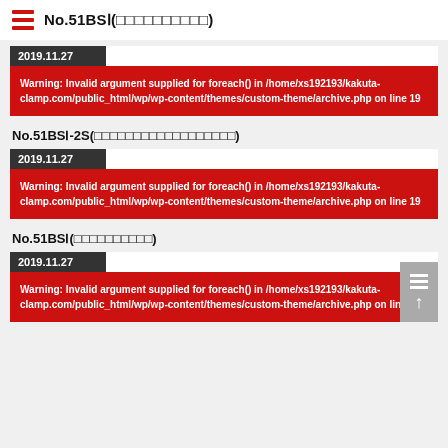No.51BSⅠ(□□□□□□□□□□)
2019.11.27
Warning: Invalid argument supplied for foreach() in /home/xs192193/kakuta-clamp.com/public_html/wp/wp-content/themes/custom-theme/archive.php on line 19
No.51BSⅠ-2S(□□□□□□□□□□□□□□□□□□)
2019.11.27
Warning: Invalid argument supplied for foreach() in /home/xs192193/kakuta-clamp.com/public_html/wp/wp-content/themes/custom-theme/archive.php on line 19
No.51BSⅠ(□□□□□□□□□□)
2019.11.27
Warning: Invalid argument supplied for foreach() in /home/xs192193/kakuta-clamp.com/public_html/wp/wp-content/themes/custom-theme/archive.php on line 19